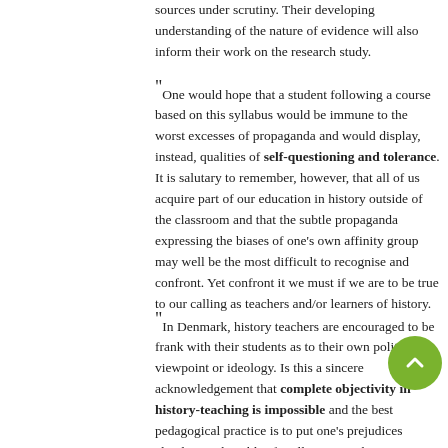sources under scrutiny. Their developing understanding of the nature of evidence will also inform their work on the research study.
"One would hope that a student following a course based on this syllabus would be immune to the worst excesses of propaganda and would display, instead, qualities of self-questioning and tolerance. It is salutary to remember, however, that all of us acquire part of our education in history outside of the classroom and that the subtle propaganda expressing the biases of one's own affinity group may well be the most difficult to recognise and confront. Yet confront it we must if we are to be true to our calling as teachers and/or learners of history.
"In Denmark, history teachers are encouraged to be frank with their students as to their own political viewpoint or ideology. Is this a sincere acknowledgement that complete objectivity in history-teaching is impossible and that the best pedagogical practice is to put one's prejudices clearly “on the table” for all to see? Whatever one's view of such an approach, it does not obviate the need for the commitment